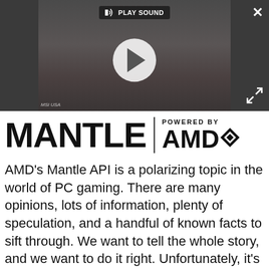[Figure (screenshot): Video thumbnail showing a gaming PC setup with a play button overlay and 'PLAY SOUND' label. MSI USA watermark visible at bottom left.]
[Figure (logo): MANTLE logo with vertical divider and 'POWERED BY AMD' logo to the right]
AMD's Mantle API is a polarizing topic in the world of PC gaming. There are many opinions, lots of information, plenty of speculation, and a handful of known facts to sift through. We want to tell the whole story, and we want to do it right. Unfortunately, it's almost impossible to discuss this topic without resorting to industry jargon, so let's start at the very beginning and lay out some definitions, set the stage, identify where we were, and how we got here.